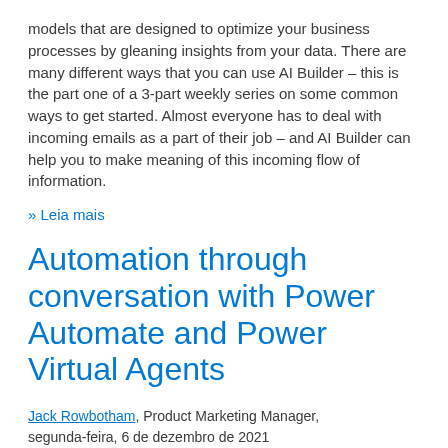models that are designed to optimize your business processes by gleaning insights from your data. There are many different ways that you can use AI Builder – this is the part one of a 3-part weekly series on some common ways to get started. Almost everyone has to deal with incoming emails as a part of their job – and AI Builder can help you to make meaning of this incoming flow of information.
» Leia mais
Automation through conversation with Power Automate and Power Virtual Agents
Jack Rowbotham, Product Marketing Manager, segunda-feira, 6 de dezembro de 2021